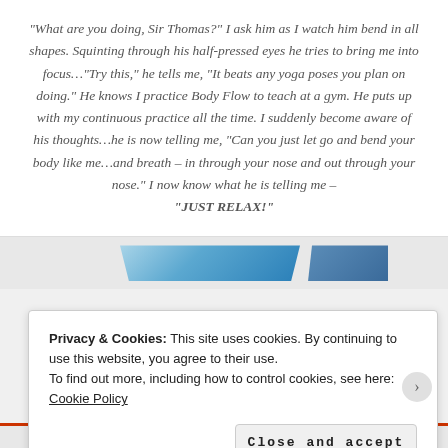“What are you doing, Sir Thomas?” I ask him as I watch him bend in all shapes. Squinting through his half-pressed eyes he tries to bring me into focus…“Try this,” he tells me, “It beats any yoga poses you plan on doing.” He knows I practice Body Flow to teach at a gym. He puts up with my continuous practice all the time. I suddenly become aware of his thoughts…he is now telling me, “Can you just let go and bend your body like me…and breath – in through your nose and out through your nose.” I now know what he is telling me – “JUST RELAX!”
[Figure (illustration): Partial view of a decorative banner or header image with blue gradient shapes visible]
Privacy & Cookies: This site uses cookies. By continuing to use this website, you agree to their use.
To find out more, including how to control cookies, see here: Cookie Policy
Close and accept